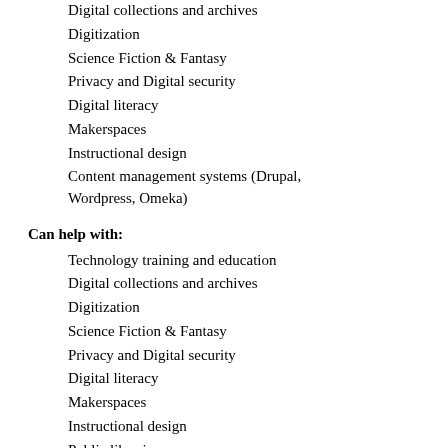Digital collections and archives
Digitization
Science Fiction & Fantasy
Privacy and Digital security
Digital literacy
Makerspaces
Instructional design
Content management systems (Drupal, Wordpress, Omeka)
Can help with:
Technology training and education
Digital collections and archives
Digitization
Science Fiction & Fantasy
Privacy and Digital security
Digital literacy
Makerspaces
Instructional design
Public libraries